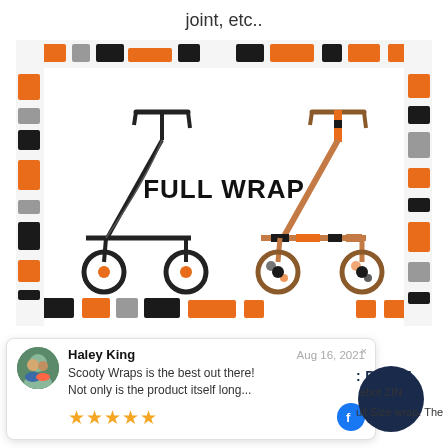joint, etc..
[Figure (photo): Product image showing two electric scooters side by side with orange/black/grey camo pattern border. Left scooter is plain black, right scooter has camo wrap applied. Text 'FULL WRAP' appears in bold between them.]
Haley King — Aug 16, 2021 — Scooty Wraps is the best out there! Not only is the product itself long... ★★★★★
: DELETE
ebot ZIN
ull Size wrap. The